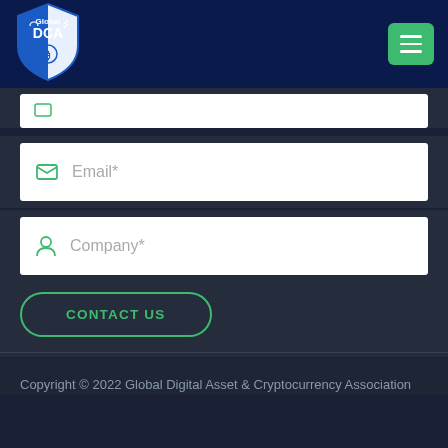[Figure (logo): Global DCA shield logo with blue and white design, featuring DCA text and cryptocurrency symbols]
Email*
Company*
CONTACT US
Copyright © 2022 Global Digital Asset & Cryptocurrency Association